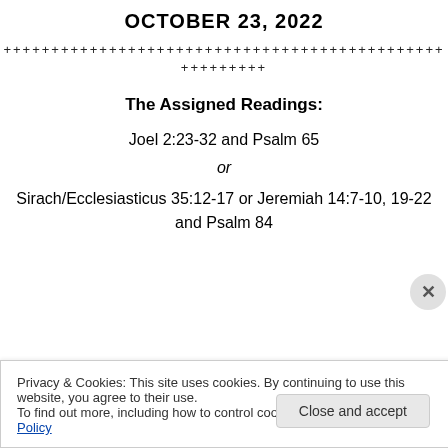OCTOBER 23, 2022
++++++++++++++++++++++++++++++++++++++++++++++
+++++++++
The Assigned Readings:
Joel 2:23-32 and Psalm 65
or
Sirach/Ecclesiasticus 35:12-17 or Jeremiah 14:7-10, 19-22 and Psalm 84
Privacy & Cookies: This site uses cookies. By continuing to use this website, you agree to their use.
To find out more, including how to control cookies, see here: Cookie Policy
Close and accept